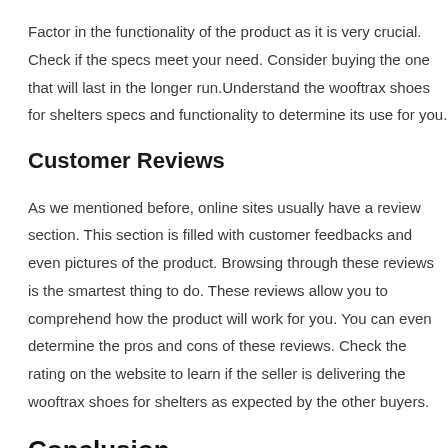Factor in the functionality of the product as it is very crucial. Check if the specs meet your need. Consider buying the one that will last in the longer run.Understand the wooftrax shoes for shelters specs and functionality to determine its use for you.
Customer Reviews
As we mentioned before, online sites usually have a review section. This section is filled with customer feedbacks and even pictures of the product. Browsing through these reviews is the smartest thing to do. These reviews allow you to comprehend how the product will work for you. You can even determine the pros and cons of these reviews. Check the rating on the website to learn if the seller is delivering the wooftrax shoes for shelters as expected by the other buyers.
Conclusion